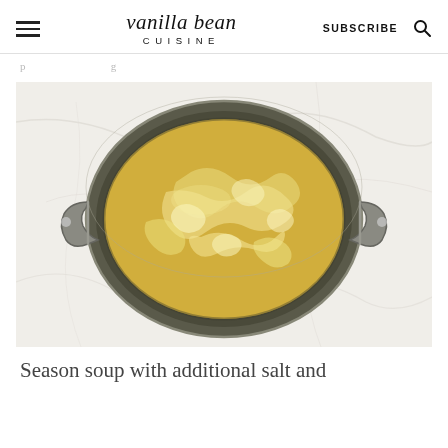vanilla bean CUISINE | SUBSCRIBE
p                             g
[Figure (photo): Overhead view of a dark round pot with two stainless steel handles sitting on a white marble surface. The pot contains a golden/yellow brothy soup with egg ribbons and shredded ingredients visible on the surface.]
Season soup with additional salt and